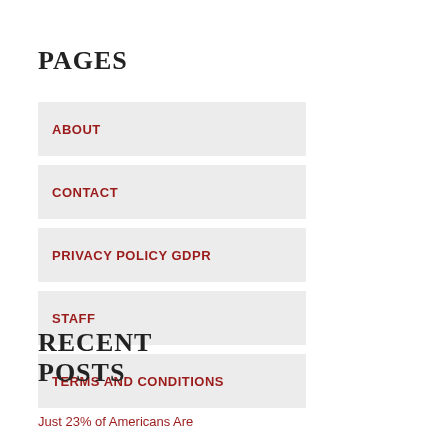PAGES
ABOUT
CONTACT
PRIVACY POLICY GDPR
STAFF
TERMS AND CONDITIONS
RECENT POSTS
Just 23% of Americans Are